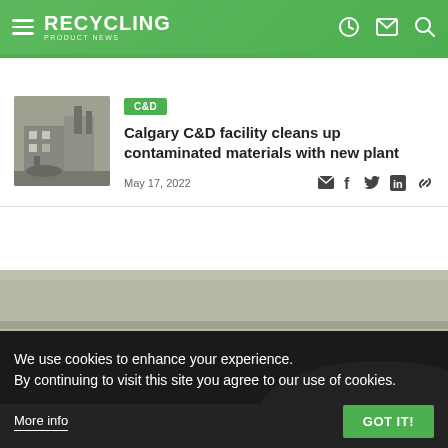RECYCLING PRODUCT NEWS
C&D
Calgary C&D facility cleans up contaminated materials with new plant
May 17, 2022
We use cookies to enhance your experience. By continuing to visit this site you agree to our use of cookies.
More info
GOT IT!